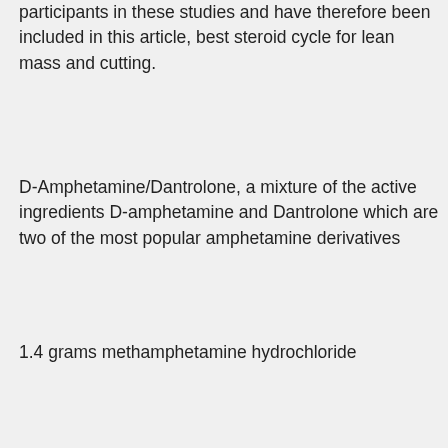participants in these studies and have therefore been included in this article, best steroid cycle for lean mass and cutting.
D-Amphetamine/Dantrolone, a mixture of the active ingredients D-amphetamine and Dantrolone which are two of the most popular amphetamine derivatives
1.4 grams methamphetamine hydrochloride
0.8 grams propylthiouracil (VP)
Dianabol (or D-methamphetamine hydrochloride or DMH) is an isomer to D-amphetamine also known as DMAA. It is also known as 3, 4, and 5-MeO-DMT in the East and East Coast, and is sometimes known simply as magic in Southeast Asia